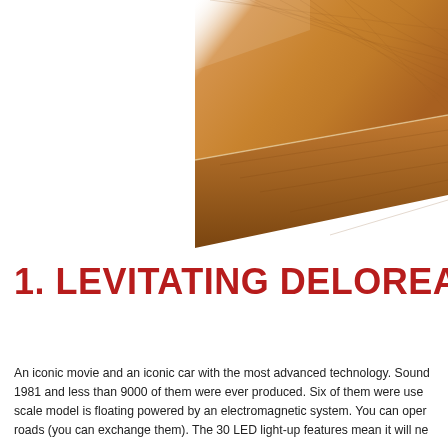[Figure (photo): Close-up photo of a wooden block or platform with rich brown wood grain texture, showing the corner/edge of the object against a white background. The wood surface has natural grain patterns in warm brown tones.]
1. LEVITATING DELOREA
An iconic movie and an iconic car with the most advanced technology. Sound 1981 and less than 9000 of them were ever produced. Six of them were use scale model is floating powered by an electromagnetic system. You can oper roads (you can exchange them). The 30 LED light-up features mean it will ne